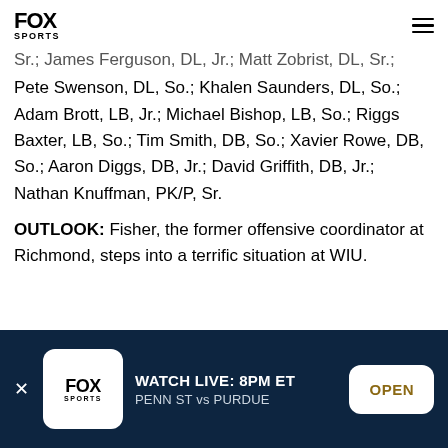FOX Sports
Sr.; James Ferguson, DL, Jr.; Matt Zobrist, DL, Sr.; Pete Swenson, DL, So.; Khalen Saunders, DL, So.; Adam Brott, LB, Jr.; Michael Bishop, LB, So.; Riggs Baxter, LB, So.; Tim Smith, DB, So.; Xavier Rowe, DB, So.; Aaron Diggs, DB, Jr.; David Griffith, DB, Jr.; Nathan Knuffman, PK/P, Sr.
OUTLOOK: Fisher, the former offensive coordinator at Richmond, steps into a terrific situation at WIU.
[Figure (screenshot): FOX Sports ad banner: WATCH LIVE: 8PM ET – PENN ST vs PURDUE with OPEN button]